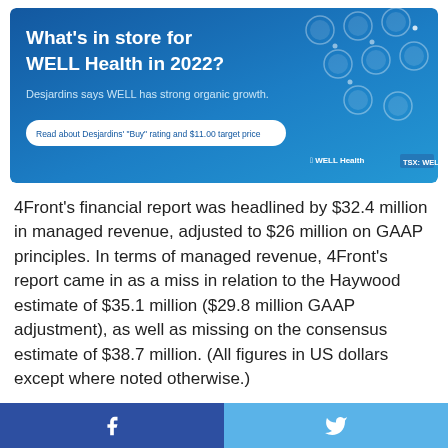[Figure (infographic): Blue advertisement banner for WELL Health. Title: 'What's in store for WELL Health in 2022?' Subtitle: 'Desjardins says WELL has strong organic growth.' CTA button: 'Read about Desjardins' "Buy" rating and $11.00 target price'. WELL Health logo and TSX: WELL ticker shown.]
4Front's financial report was headlined by $32.4 million in managed revenue, adjusted to $26 million on GAAP principles. In terms of managed revenue, 4Front's report came in as a miss in relation to the Haywood estimate of $35.1 million ($29.8 million GAAP adjustment), as well as missing on the consensus estimate of $38.7 million. (All figures in US dollars except where noted otherwise.)
The margins pr
[Figure (infographic): Social sharing bar at bottom with Facebook (dark blue) and Twitter (light blue) icons.]